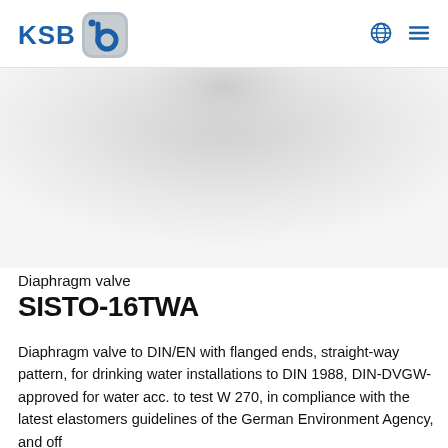[Figure (logo): KSB logo with blue text 'KSB' and rounded square icon with stylized 'b' symbol]
[Figure (photo): Hero image of a diaphragm valve product, shown against a light grey gradient background]
Diaphragm valve
SISTO-16TWA
Diaphragm valve to DIN/EN with flanged ends, straight-way pattern, for drinking water installations to DIN 1988, DIN-DVGW-approved for water acc. to test W 270, in compliance with the latest elastomers guidelines of the German Environment Agency, and off…